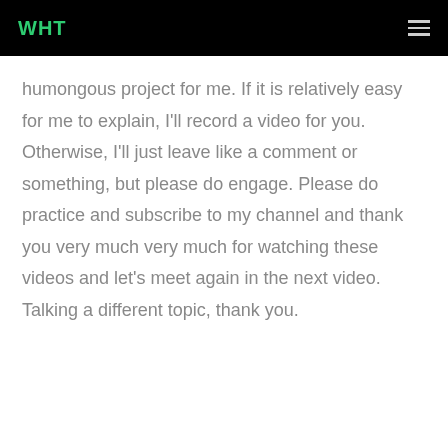WHT
humongous project for me. If it is relatively easy for me to explain, I'll record a video for you. Otherwise, I'll just leave like a comment or something, but please do engage. Please do practice and subscribe to my channel and thank you very much very much for watching these videos and let's meet again in the next video. Talking a different topic, thank you.